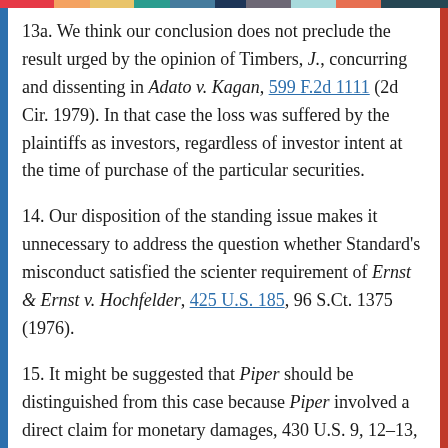13a. We think our conclusion does not preclude the result urged by the opinion of Timbers, J., concurring and dissenting in Adato v. Kagan, 599 F.2d 1111 (2d Cir. 1979). In that case the loss was suffered by the plaintiffs as investors, regardless of investor intent at the time of purchase of the particular securities.
14. Our disposition of the standing issue makes it unnecessary to address the question whether Standard's misconduct satisfied the scienter requirement of Ernst & Ernst v. Hochfelder, 425 U.S. 185, 96 S.Ct. 1375 (1976).
15. It might be suggested that Piper should be distinguished from this case because Piper involved a direct claim for monetary damages, 430 U.S. 9, 12-13, 97 S.Ct. 926, whereas Crane is pursuing an award of damages pursuant to the court's equitable power to award such relief "as